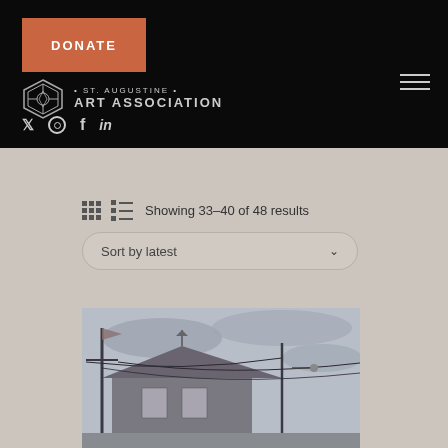St. Augustine Art Association website header with DONATE button, logo, social icons, and hamburger menu
Showing 33–40 of 48 results
Sort by latest
[Figure (photo): Painting of a building/house with utility poles, power lines, a weather vane, and an overcast sky in a realistic style]